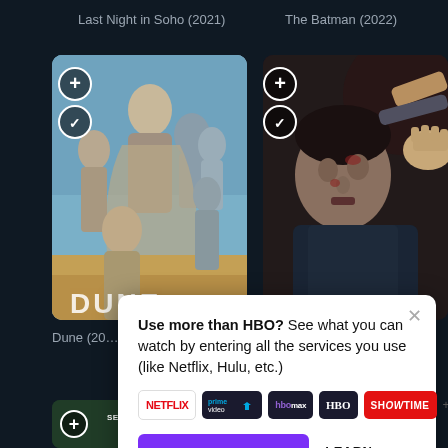Last Night in Soho (2021)
The Batman (2022)
[Figure (photo): Movie poster for Dune (2021) showing ensemble cast in desert sci-fi costumes with blue/grey tones]
[Figure (photo): Movie poster for The Batman (2022) showing a bruised man being punched, dark gritty tones]
Dune (20…
Use more than HBO? See what you can watch by entering all the services you use (like Netflix, Hulu, etc.)
COMBINE SERVICES
LEARN MORE
[Figure (photo): Partial movie poster visible at bottom left, green tones, partial text SECRETS visible]
SECRETS